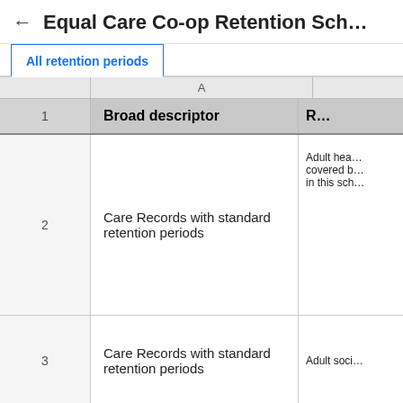← Equal Care Co-op Retention Sch…
All retention periods
|  | Broad descriptor | R… |
| --- | --- | --- |
| 2 | Care Records with standard retention periods | Adult hea…covered b…in this sch… |
| 3 | Care Records with standard retention periods | Adult soci… |
| 4 |  |  |